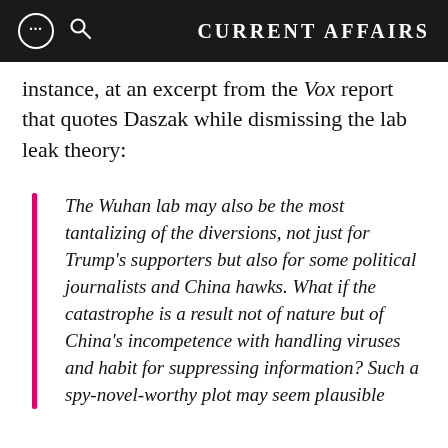CURRENT AFFAIRS
instance, at an excerpt from the Vox report that quotes Daszak while dismissing the lab leak theory:
The Wuhan lab may also be the most tantalizing of the diversions, not just for Trump's supporters but also for some political journalists and China hawks. What if the catastrophe is a result not of nature but of China's incompetence with handling viruses and habit for suppressing information? Such a spy-novel-worthy plot may seem plausible